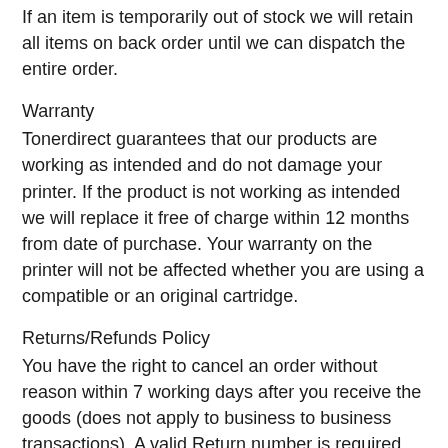If an item is temporarily out of stock we will retain all items on back order until we can dispatch the entire order.
Warranty
Tonerdirect guarantees that our products are working as intended and do not damage your printer. If the product is not working as intended we will replace it free of charge within 12 months from date of purchase. Your warranty on the printer will not be affected whether you are using a compatible or an original cartridge.
Returns/Refunds Policy
You have the right to cancel an order without reason within 7 working days after you receive the goods (does not apply to business to business transactions). A valid Return number is required for all returns to Tonerdirect. We cannot accept any return that does not have a valid Return number clearly printed on the outside of the package. Under no circumstances do we accept items posted back to our PO Box. You can request a